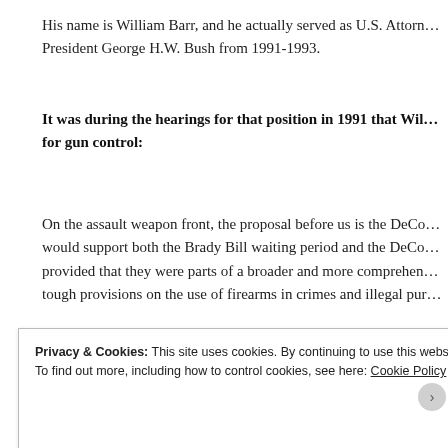His name is William Barr, and he actually served as U.S. Attorney General under President George H.W. Bush from 1991-1993.
It was during the hearings for that position in 1991 that William Barr advocated for gun control:
On the assault weapon front, the proposal before us is the DeConcini... I would support both the Brady Bill waiting period and the DeConcini... provided that they were parts of a broader and more comprehensive... tough provisions on the use of firearms in crimes and illegal pur...
You can see Barr's remarks at the 1:42:23 mark in this C-Span v...
Privacy & Cookies: This site uses cookies. By continuing to use this website, you agree to their use.
To find out more, including how to control cookies, see here: Cookie Policy
Close and accept
Advertisements